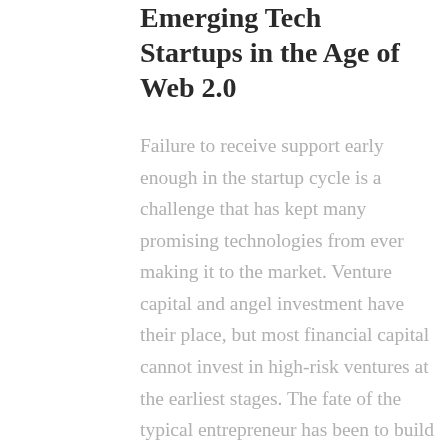Emerging Tech Startups in the Age of Web 2.0
Failure to receive support early enough in the startup cycle is a challenge that has kept many promising technologies from ever making it to the market. Venture capital and angel investment have their place, but most financial capital cannot invest in high-risk ventures at the earliest stages. The fate of the typical entrepreneur has been to build his business the hard way according to